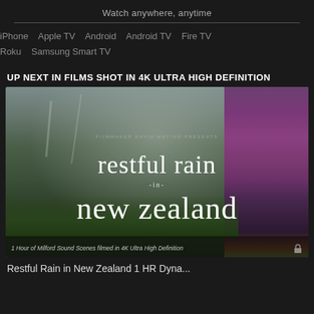Watch anywhere, anytime
iPhone   Apple TV   Android   Android TV   Fire TV
Roku   Samsung Smart TV
UP NEXT IN FILMS SHOT IN 4K ULTRA HIGH DEFINITION
[Figure (screenshot): Thumbnail image for 'Restful Rain in New Zealand' showing lush green New Zealand landscape with pink/purple foxglove flowers on the right, misty mountains in background, with overlaid text: 'restful rain -in- new zealand' and subtitle '1 Hour of Milford Sound Scenes filmed in 4K Ultra High Definition']
Restful Rain in New Zealand 1 HR Dyna...